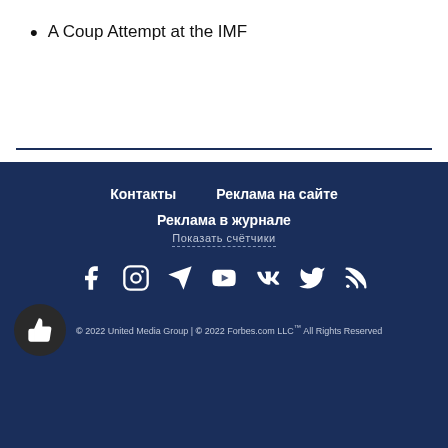A Coup Attempt at the IMF
Контакты
Реклама на сайте
Реклама в журнале
Показать счётчики
[Figure (illustration): Social media icons: Facebook, Instagram, Telegram, YouTube, VK, Twitter, RSS]
© 2022 United Media Group | © 2022 Forbes.com LLC™ All Rights Reserved